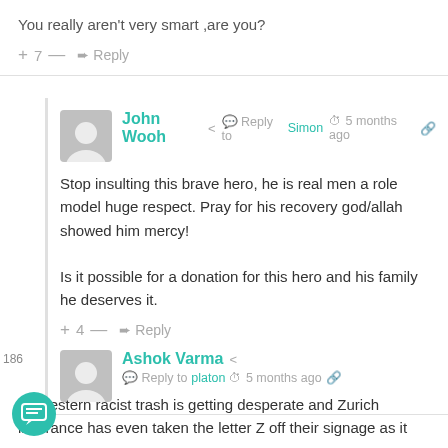You really aren't very smart ,are you?
+ 7 — → Reply
John Wooh < Reply to Simon © 5 months ago
Stop insulting this brave hero, he is real men a role model huge respect. Pray for his recovery god/allah showed him mercy!

Is it possible for a donation for this hero and his family he deserves it.
+ 4 — → Reply
Ashok Varma < Reply to platon © 5 months ago
he western racist trash is getting desperate and Zurich insurance has even taken the letter Z off their signage as it